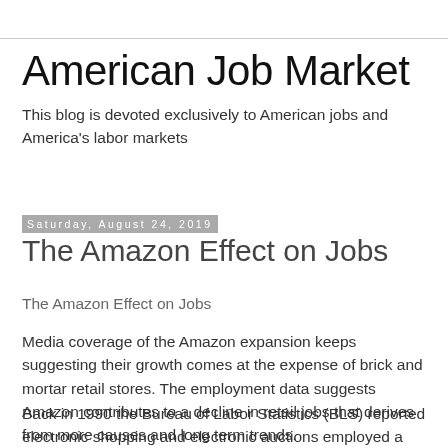American Job Market
This blog is devoted exclusively to American jobs and America's labor markets
Saturday, August 24, 2019
The Amazon Effect on Jobs
The Amazon Effect on Jobs
Media coverage of the Amazon expansion keeps suggesting their growth comes at the expense of brick and mortar retail stores. The employment data suggests Amazon contributes to a decline in retail jobs that derives from more causes and long term trends.
Back in 1990 the Bureau of Labor Statistics (BLS) reported electronic shopping and electronic auctions employed a monthly average of 40.4 thousand people while 112.5